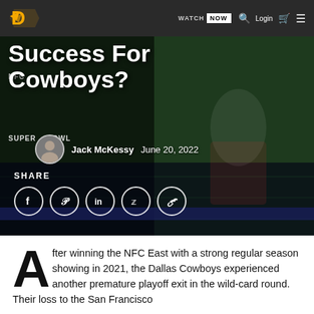WATCH NOW  Q  Login
[Figure (screenshot): Hero image of Dallas Cowboys article with overlaid title 'Success For Cowboys?', author byline Jack McKessy, date June 20, 2022, share icons for Facebook, Pinterest, LinkedIn, Twitter, and link.]
Success For Cowboys?
Jack McKessy   June 20, 2022
SHARE
After winning the NFC East with a strong regular season showing in 2021, the Dallas Cowboys experienced another premature playoff exit in the wild-card round. Their loss to the San Francisco